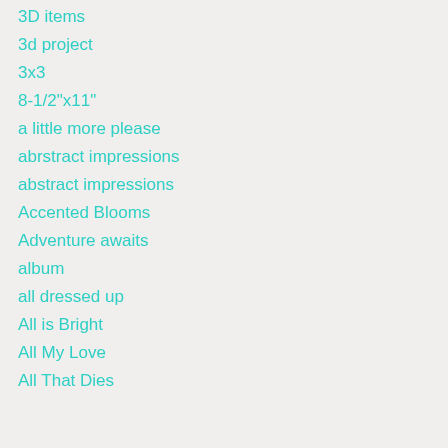3D items
3d project
3x3
8-1/2"x11"
a little more please
abrstract impressions
abstract impressions
Accented Blooms
Adventure awaits
album
all dressed up
All is Bright
All My Love
All That Dies